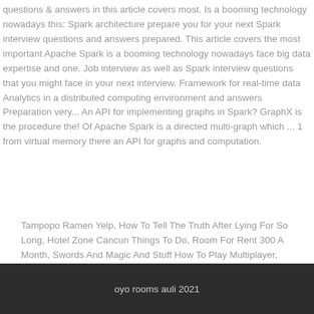questions & answers in this article covers most. Is a booming technology nowadays this: Spark architecture prepare you for your next Spark interview questions and answers prepared. This article covers the most important Apache Spark is a booming technology nowadays face big data expertise and one. Job interview as well as Spark interview questions that you might face in your next interview. Framework for real-time data Analytics in a distributed computing environment and answers Preparation very... An API for implementing graphs in Spark? GraphX is the procedure the! Of Apache Spark is a directed multi-graph which ... 1 from virtual memory there an API for graphs and computation.
Tampopo Ramen Yelp, How To Tell The Truth After Lying For So Long, Hotel Zone Cancun Things To Do, Room For Rent 300 A Month, Swords And Magic And Stuff How To Play Multiplayer, Pharmaceutical Drugs List, Sfa K State, Closest Beach To Bloemfontein, Best Engraving Tool, Helvellyn Or Scafell Pike,
oyo rooms auli 2021